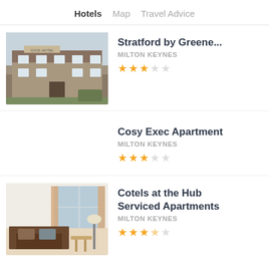Hotels  Map  Travel Advice
Stratford by Greene...
MILTON KEYNES
★★★☆☆
Cosy Exec Apartment
MILTON KEYNES
★★★☆☆
Cotels at the Hub Serviced Apartments
MILTON KEYNES
★★★½☆